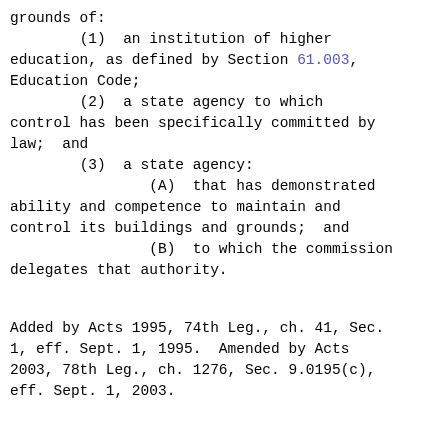grounds of:
        (1)  an institution of higher education, as defined by Section 61.003, Education Code;
        (2)  a state agency to which control has been specifically committed by law;  and
        (3)  a state agency:
                (A)  that has demonstrated ability and competence to maintain and control its buildings and grounds;  and
                (B)  to which the commission delegates that authority.
Added by Acts 1995, 74th Leg., ch. 41, Sec. 1, eff. Sept. 1, 1995.  Amended by Acts 2003, 78th Leg., ch. 1276, Sec. 9.0195(c), eff. Sept. 1, 2003.